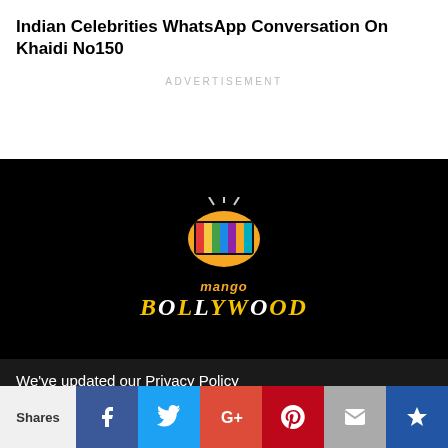Indian Celebrities WhatsApp Conversation On Khaidi No150
ADVERTISEMENT
[Figure (logo): Mango Bollywood TV logo on black background — a mango-shaped TV with colorful screen, text 'mango' above 'BOLLYWOOD' in yellow-orange stylized font]
We've updated our Privacy Policy and Terms of Service to make sure the usage of users data in a more clearer way. Click "Okay, I
Okay, I Understand
Shares